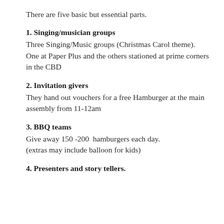There are five basic but essential parts.
1. Singing/musician groups
Three Singing/Music groups (Christmas Carol theme). One at Paper Plus and the others stationed at prime corners in the CBD
2. Invitation givers
They hand out vouchers for a free Hamburger at the main assembly from 11-12am
3. BBQ teams
Give away 150 -200  hamburgers each day. (extras may include balloon for kids)
4. Presenters and story tellers.